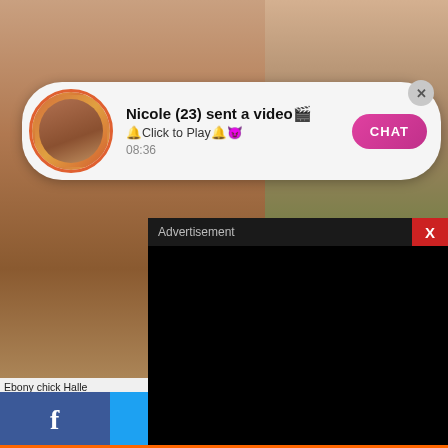[Figure (screenshot): Screenshot of adult content website with notification popup overlay and advertisement overlay. Background shows adult images. Notification reads 'Nicole (23) sent a video' with 'Click to Play' and a pink CHAT button. An advertisement black overlay is visible. Social share bar at bottom with Facebook and Twitter buttons.]
Nicole (23) sent a video🎬
🔔Click to Play🔔😈
08:36
CHAT
Advertisement
X
Busty Ukrainian brunette
Ebony chick Halle drips cum from h...
SEE